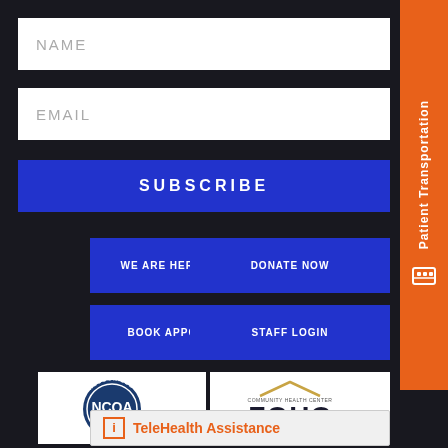NAME
EMAIL
SUBSCRIBE
WE ARE HERE TO HELP
DONATE NOW
BOOK APPOINTMENT
STAFF LOGIN
Patient Transportation
[Figure (logo): NCQA Recognized Patient-Centered Medical Home badge]
[Figure (logo): Best Charlotte award badge]
[Figure (logo): Community Health Center FQHC logo]
TeleHealth Assistance